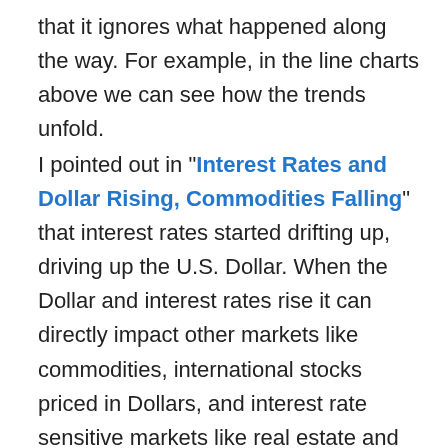that it ignores what happened along the way. For example, in the line charts above we can see how the trends unfold.
I pointed out in "Interest Rates and Dollar Rising, Commodities Falling" that interest rates started drifting up, driving up the U.S. Dollar. When the Dollar and interest rates rise it can directly impact other markets like commodities, international stocks priced in Dollars, and interest rate sensitive markets like real estate and utilities. In the next chart I include the U.S. Dollar again to show its steady increase the past three months. Then we see that commodities like Gold (GLD), interest rate sensitive markets like Utilities (IDU), U.S. Real Estate REITs (IYR), and Mortgage REITs (REM) all declined materially. International stocks in Developed Countries (EFA) and